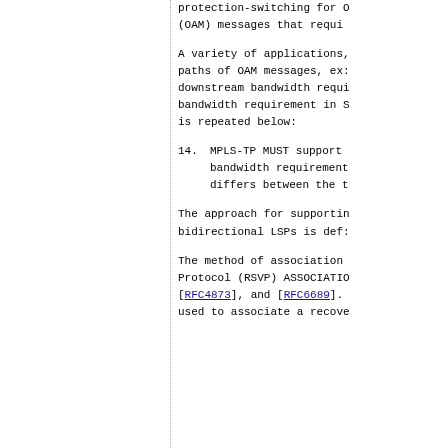protection-switching for O (OAM) messages that requi
A variety of applications, paths of OAM messages, ex: downstream bandwidth requi bandwidth requirement in S is repeated below:
14.  MPLS-TP MUST support bandwidth requirement differs between the t
The approach for supporting bidirectional LSPs is def:
The method of association Protocol (RSVP) ASSOCIATIO [RFC4873], and [RFC6689]. used to associate a recove